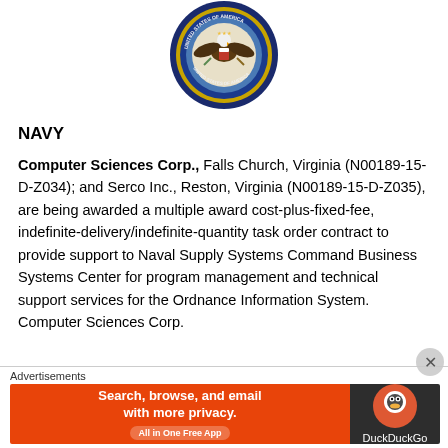[Figure (logo): United States of America government seal/emblem, circular with eagle and text]
NAVY
Computer Sciences Corp., Falls Church, Virginia (N00189-15-D-Z034); and Serco Inc., Reston, Virginia (N00189-15-D-Z035), are being awarded a multiple award cost-plus-fixed-fee, indefinite-delivery/indefinite-quantity task order contract to provide support to Naval Supply Systems Command Business Systems Center for program management and technical support services for the Ordnance Information System. Computer Sciences Corp.